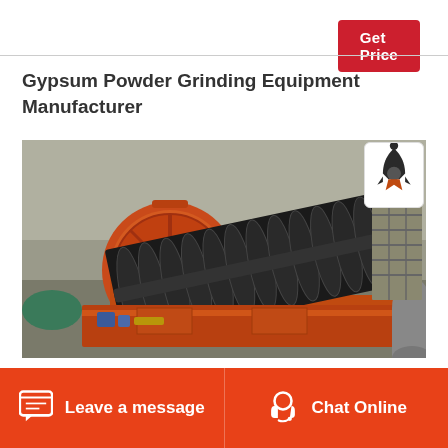Get Price
Gypsum Powder Grinding Equipment Manufacturer
[Figure (photo): Industrial gypsum powder grinding equipment showing a large spiral/screw conveyor mechanism with multiple disc blades mounted on a frame, with an orange cylindrical ball mill in the background, in a factory/industrial setting.]
Leave a message   Chat Online